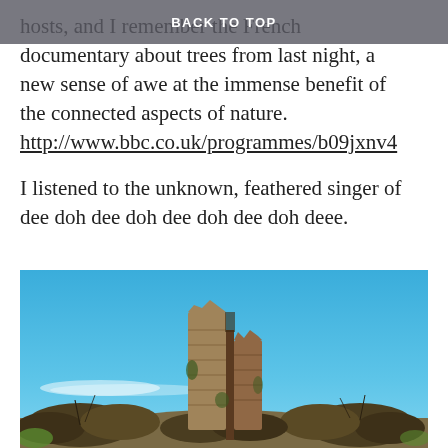BACK TO TOP
hosts, and I remember the French documentary about trees from last night, a new sense of awe at the immense benefit of the connected aspects of nature. http://www.bbc.co.uk/programmes/b09jxnv4
I listened to the unknown, feathered singer of dee doh dee doh dee doh dee doh deee.
[Figure (photo): Photograph of ancient stone ruin tower standing against a clear blue sky, with bare scrubby bushes and vegetation around the base, taken on a bright winter day.]